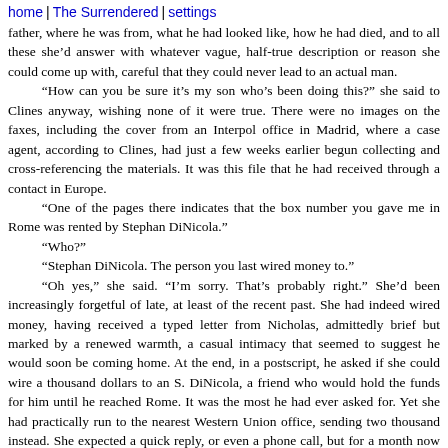home | The Surrendered | settings
father, where he was from, what he had looked like, how he had died, and to all these she'd answer with whatever vague, half-true description or reason she could come up with, careful that they could never lead to an actual man.

“How can you be sure it’s my son who’s been doing this?” she said to Clines anyway, wishing none of it were true. There were no images on the faxes, including the cover from an Interpol office in Madrid, where a case agent, according to Clines, had just a few weeks earlier begun collecting and cross-referencing the materials. It was this file that he had received through a contact in Europe.

“One of the pages there indicates that the box number you gave me in Rome was rented by Stephan DiNicola.”

“Who?”

“Stephan DiNicola. The person you last wired money to.”

“Oh yes,” she said. “I’m sorry. That’s probably right.” She’d been increasingly forgetful of late, at least of the recent past. She had indeed wired money, having received a typed letter from Nicholas, admittedly brief but marked by a renewed warmth, a casual intimacy that seemed to suggest he would soon be coming home. At the end, in a postscript, he asked if she could wire a thousand dollars to an S. DiNicola, a friend who would hold the funds for him until he reached Rome. It was the most he had ever asked for. Yet she had practically run to the nearest Western Union office, sending two thousand instead. She expected a quick reply, or even a phone call, but for a month now there had been nothing. Nothing at all.

“And are you obligated to tell any authorities what you know?”